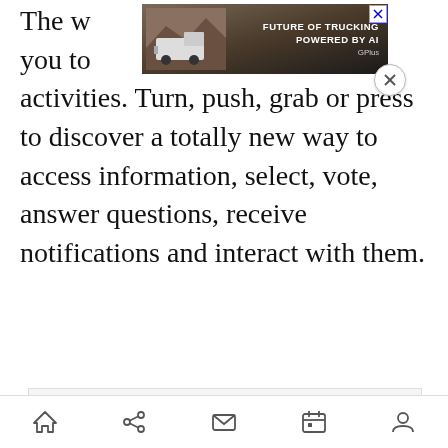The w...lows you to... activities. Turn, push, grab or press to discover a totally new way to access information, select, vote, answer questions, receive notifications and interact with them.
[Figure (screenshot): Trucking advertisement banner overlay at top of page: 'FUTURE OF TRUCKING POWERED BY AI' with truck image and close button]
[Figure (screenshot): Capital One Software - Capital One Slingshot advertisement. 'Software to seamlessly manage your Snowflake cloud data costs.']
[Figure (screenshot): Mobile browser navigation bar with home, share, mail, calendar, and profile icons]